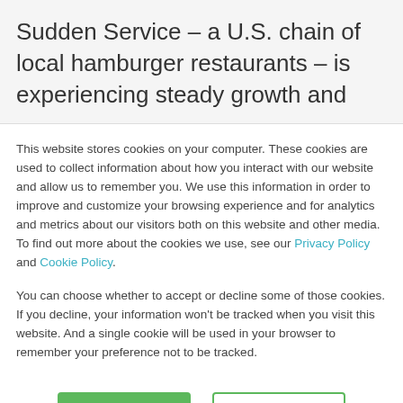Sudden Service – a U.S. chain of local hamburger restaurants – is experiencing steady growth and
This website stores cookies on your computer. These cookies are used to collect information about how you interact with our website and allow us to remember you. We use this information in order to improve and customize your browsing experience and for analytics and metrics about our visitors both on this website and other media. To find out more about the cookies we use, see our Privacy Policy and Cookie Policy.
You can choose whether to accept or decline some of those cookies. If you decline, your information won't be tracked when you visit this website. And a single cookie will be used in your browser to remember your preference not to be tracked.